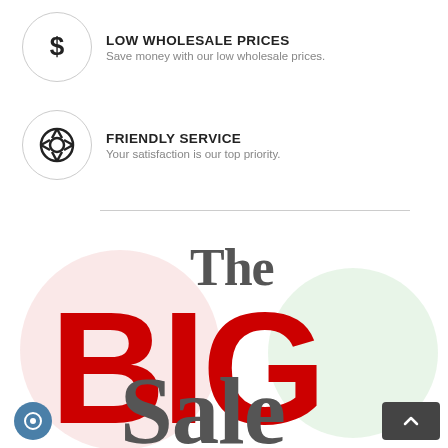LOW WHOLESALE PRICES — Save money with our low wholesale prices.
FRIENDLY SERVICE — Your satisfaction is our top priority.
[Figure (infographic): Promotional graphic reading 'The BIG Sale' with large bold red text for BIG and grey serif text for The and Sale, with decorative pink and green circles in the background.]